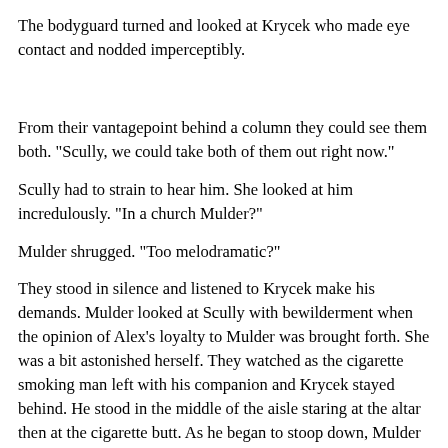The bodyguard turned and looked at Krycek who made eye contact and nodded imperceptibly.
From their vantagepoint behind a column they could see them both. "Scully, we could take both of them out right now."
Scully had to strain to hear him. She looked at him incredulously. "In a church Mulder?"
Mulder shrugged. "Too melodramatic?"
They stood in silence and listened to Krycek make his demands. Mulder looked at Scully with bewilderment when the opinion of Alex's loyalty to Mulder was brought forth. She was a bit astonished herself. They watched as the cigarette smoking man left with his companion and Krycek stayed behind. He stood in the middle of the aisle staring at the altar then at the cigarette butt. As he began to stoop down, Mulder beaded his gun on Krycek, stepped forward and motioned to Scully to do the same.
Krycek bent to pick up what was left of the cigarette and saw movement out of the corner of his eye. Looking up and seeing the